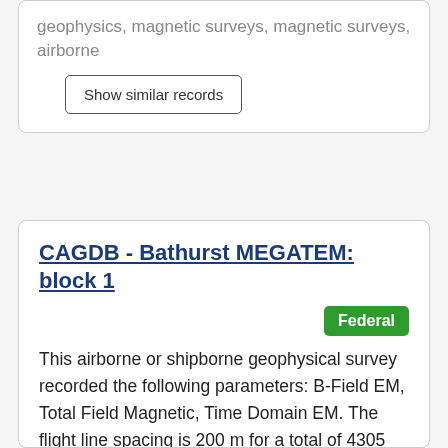geophysics, magnetic surveys, magnetic surveys, airborne
Show similar records
CAGDB - Bathurst MEGATEM: block 1
Federal
This airborne or shipborne geophysical survey recorded the following parameters: B-Field EM, Total Field Magnetic, Time Domain EM. The flight line spacing is 200 m for a total of 4305 kilometres. The survey was flown between 2004-02-02 and